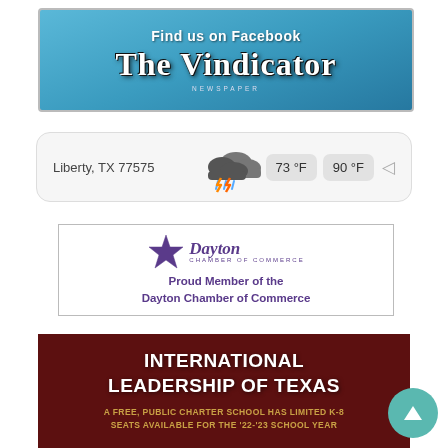[Figure (logo): The Vindicator newspaper Facebook banner ad with blue textured background, bold gothic/blackletter logo text 'The Vindicator' and 'Find us on Facebook' text above it]
[Figure (infographic): Weather widget showing Liberty, TX 77575 with stormy cloud/lightning icon, temperatures 73°F and 90°F]
[Figure (logo): Dayton Chamber of Commerce ad with star logo and script 'Dayton' text, 'Proud Member of the Dayton Chamber of Commerce']
[Figure (infographic): International Leadership of Texas advertisement with dark red background, white bold text 'INTERNATIONAL LEADERSHIP OF TEXAS' and golden subtitle 'A FREE, PUBLIC CHARTER SCHOOL HAS LIMITED K-8 SEATS AVAILABLE FOR THE 22-23 SCHOOL YEAR']